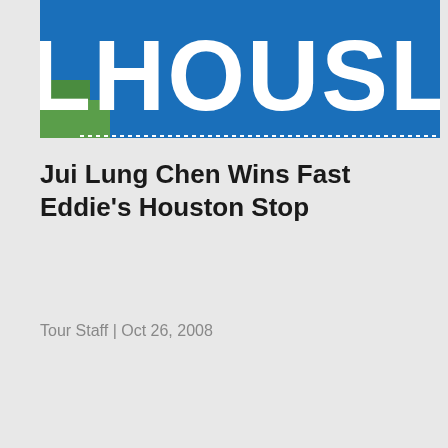[Figure (photo): Partial view of a blue banner/sign with large white letters reading 'LHOUSL' (partially cropped), with a green element in the lower left corner and a dotted border along the bottom edge.]
Jui Lung Chen Wins Fast Eddie's Houston Stop
Tour Staff | Oct 26, 2008